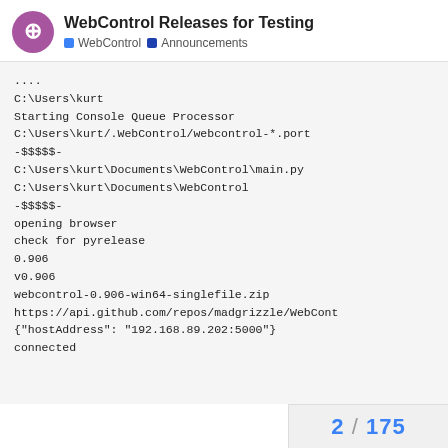WebControl Releases for Testing — WebControl | Announcements
....
C:\Users\kurt
Starting Console Queue Processor
C:\Users\kurt/.WebControl/webcontrol-*.port
-$$$$$-
C:\Users\kurt\Documents\WebControl\main.py
C:\Users\kurt\Documents\WebControl
-$$$$$-
opening browser
check for pyrelease
0.906
v0.906
webcontrol-0.906-win64-singlefile.zip
https://api.github.com/repos/madgrizzle/WebCont
{"hostAddress": "192.168.89.202:5000"}
connected
2 / 175